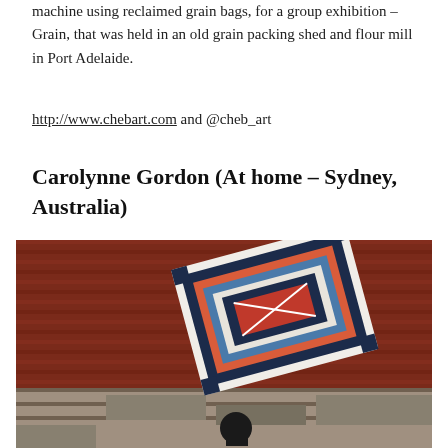This work was created on her industrial sewing machine using reclaimed grain bags, for a group exhibition – Grain, that was held in an old grain packing shed and flour mill in Port Adelaide.
http://www.chebart.com and @cheb_art
Carolynne Gordon (At home – Sydney, Australia)
[Figure (photo): A person walking outdoors in front of a red corrugated iron wall and stone steps, holding up a large handmade quilt/blanket with a geometric pattern in navy, coral/red, blue, white, and black colours.]